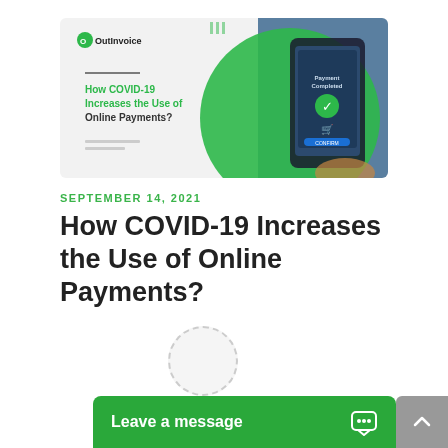[Figure (illustration): OutInvoice branded banner image showing a smartphone with 'Payment Completed' screen, with a green circle and shopping cart icon. Text overlay reads: How COVID-19 Increases the Use of Online Payments?]
SEPTEMBER 14, 2021
How COVID-19 Increases the Use of Online Payments?
[Figure (screenshot): Leave a message chat widget bar at the bottom of the page, green background with chat bubble icon and scroll-up button.]